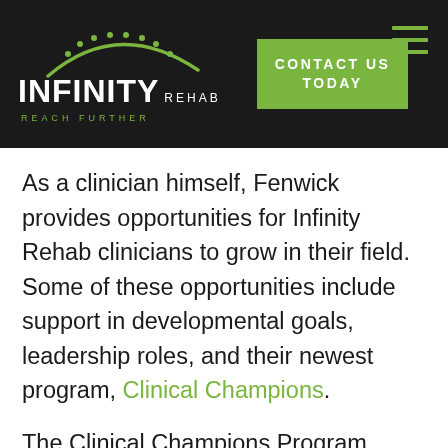[Figure (logo): Infinity Rehab logo with green arc and dots, white text 'INFINITY REHAB', green tagline 'REACH FURTHER', green contact button and hamburger menu on dark background]
As a clinician himself, Fenwick provides opportunities for Infinity Rehab clinicians to grow in their field. Some of these opportunities include support in developmental goals, leadership roles, and their newest program, Clinical Champions.
The Clinical Champions Program focuses